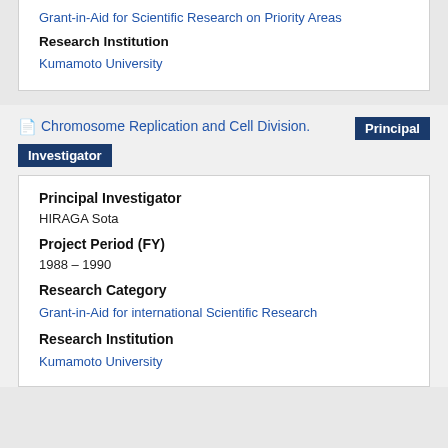Grant-in-Aid for Scientific Research on Priority Areas
Research Institution
Kumamoto University
Chromosome Replication and Cell Division.
Principal Investigator
Principal Investigator
HIRAGA Sota
Project Period (FY)
1988 – 1990
Research Category
Grant-in-Aid for international Scientific Research
Research Institution
Kumamoto University